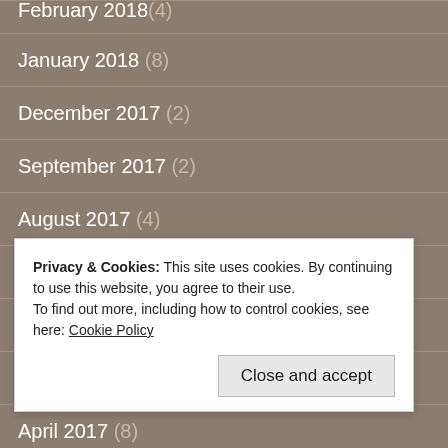February 2018 (4)
January 2018 (8)
December 2017 (2)
September 2017 (2)
August 2017 (4)
July 2017 (5)
June 2017 (7)
May 2017 (8)
April 2017 (8)
March 2017 (partial)
Privacy & Cookies: This site uses cookies. By continuing to use this website, you agree to their use.
To find out more, including how to control cookies, see here: Cookie Policy
Close and accept